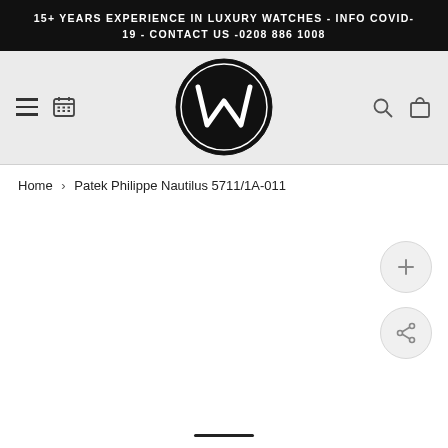15+ YEARS EXPERIENCE IN LUXURY WATCHES - INFO COVID-19 - CONTACT US -0208 886 1008
[Figure (logo): Circular black logo with stylized W inside, representing a luxury watch retailer]
Home › Patek Philippe Nautilus 5711/1A-011
[Figure (other): Product image area (blank/empty) with zoom (+) and share buttons on the right side]